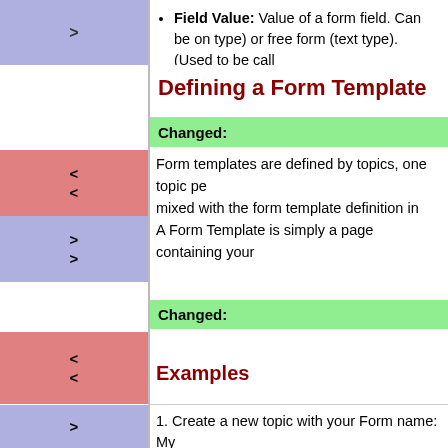Field Value: Value of a form field. Can be on type) or free form (text type). (Used to be call
Defining a Form Template
Changed:
< Form templates are defined by topics, one topic pe
< mixed with the form template definition in the form
> A Form Template is simply a page containing your
>
Changed:
<
< Examples
Examples
1. Create a new topic with your Form name: My